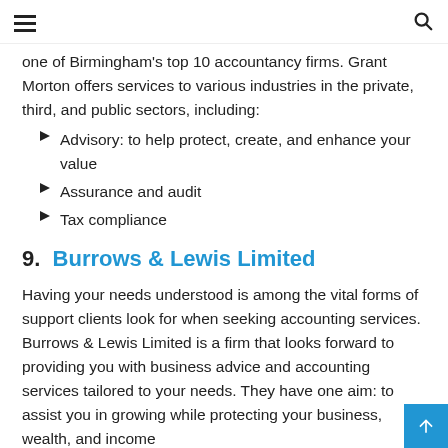[hamburger menu] [search icon]
one of Birmingham's top 10 accountancy firms. Grant Morton offers services to various industries in the private, third, and public sectors, including:
Advisory: to help protect, create, and enhance your value
Assurance and audit
Tax compliance
9.  Burrows & Lewis Limited
Having your needs understood is among the vital forms of support clients look for when seeking accounting services. Burrows & Lewis Limited is a firm that looks forward to providing you with business advice and accounting services tailored to your needs. They have one aim: to assist you in growing while protecting your business, wealth, and income